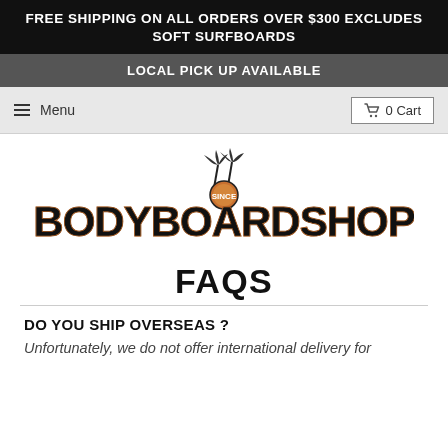FREE SHIPPING ON ALL ORDERS OVER $300 EXCLUDES SOFT SURFBOARDS
LOCAL PICK UP AVAILABLE
Menu   0 Cart
[Figure (logo): Bodyboard Shop logo with stylized text and palm tree graphic]
FAQS
DO YOU SHIP OVERSEAS ?
Unfortunately, we do not offer international delivery for